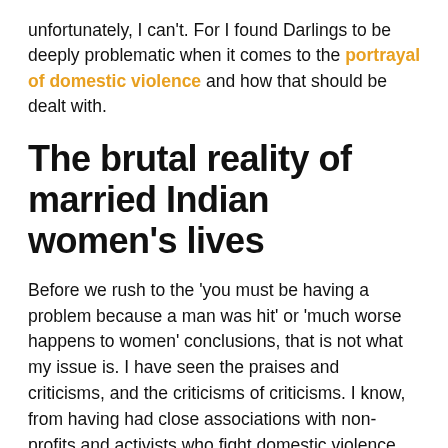unfortunately, I can't. For I found Darlings to be deeply problematic when it comes to the portrayal of domestic violence and how that should be dealt with.
The brutal reality of married Indian women's lives
Before we rush to the 'you must be having a problem because a man was hit' or 'much worse happens to women' conclusions, that is not what my issue is. I have seen the praises and criticisms, and the criticisms of criticisms. I know, from having had close associations with non-profits and activists who fight domestic violence not just in India but globally, that much worse happens to women. I have written a book with case